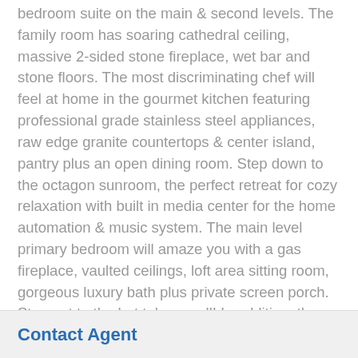bedroom suite on the main & second levels. The family room has soaring cathedral ceiling, massive 2-sided stone fireplace, wet bar and stone floors. The most discriminating chef will feel at home in the gourmet kitchen featuring professional grade stainless steel appliances, raw edge granite countertops & center island, pantry plus an open dining room. Step down to the octagon sunroom, the perfect retreat for cozy relaxation with built in media center for the home automation & music system. The main level primary bedroom will amaze you with a gas fireplace, vaulted ceilings, loft area sitting room, gorgeous luxury bath plus private screen porch. Step out to the hot tub as well! In addition, the first floor has a main level office that could be used as a bedroom, huge laundry and mud room area with full bath including a stone shower for farm cleanup or pet care, storage closet and double doors to the deck. There is an enclosed breezeway to the garage and back staircase. The outdoor living is fantastic with a wraparound deck with stone fireplace, covered sitting areas and beautiful surrounding
Contact Agent